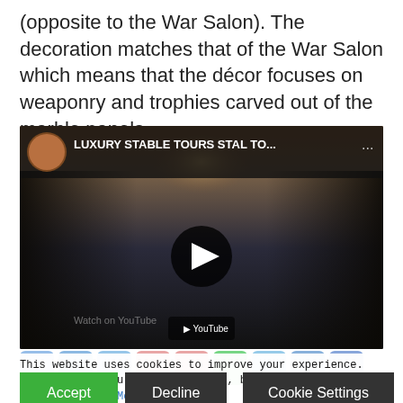(opposite to the War Salon). The decoration matches that of the War Salon which means that the décor focuses on weaponry and trophies carved out of the marble panels.
[Figure (screenshot): YouTube video embed thumbnail showing a luxury stable interior with dark wood stalls and arched ceiling. Video title: LUXURY STABLE TOURS STAL TO... with a play button overlay.]
This website uses cookies to improve your experience. We'll assume you're ok with this, but you can opt-out if you wish. Read More
In case of sale of your personal information, you may opt out by using the link Do Not Sell My Personal Information